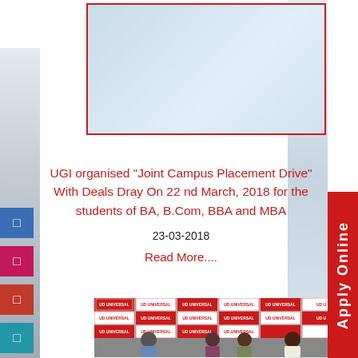[Figure (photo): Top banner photo area with light blue background, bordered with red outline]
UGI organised "Joint Campus Placement Drive" With Deals Dray On 22 nd March, 2018 for the students of BA, B.Com, BBA and MBA
23-03-2018
Read More....
[Figure (photo): Photo of campus placement drive event showing people seated in front of UNIVERSAL branded backdrop with red and white logo tiles]